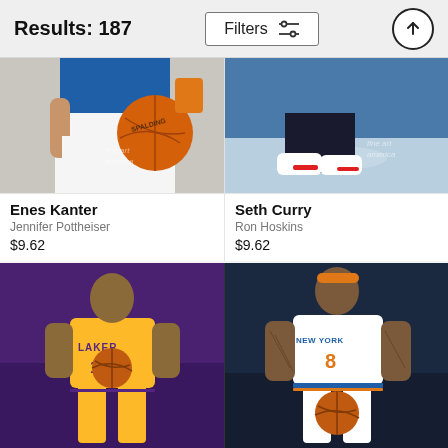Results: 187  Filters  ↑
[Figure (photo): Enes Kanter holding a Spalding basketball, wearing NY Knicks uniform]
[Figure (photo): Seth Curry dribbling, close-up of shoes on court]
Enes Kanter
Jennifer Pottheiser
$9.62
Seth Curry
Ron Hoskins
$9.62
[Figure (photo): Lakers player #11 in yellow uniform holding basketball on purple background]
[Figure (photo): NY Knicks player #8 in white uniform with orange headband on dark background]